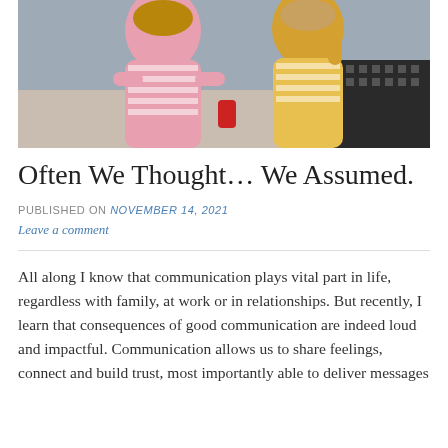[Figure (photo): Two children, one in a pink striped outfit with arms crossed and one in a yellow striped top, photographed from above against a grey background with a patterned cushion visible]
Often We Thought… We Assumed.
PUBLISHED ON November 14, 2021
Leave a comment
All along I know that communication plays vital part in life, regardless with family, at work or in relationships. But recently, I learn that consequences of good communication are indeed loud and impactful. Communication allows us to share feelings, connect and build trust, most importantly able to deliver messages